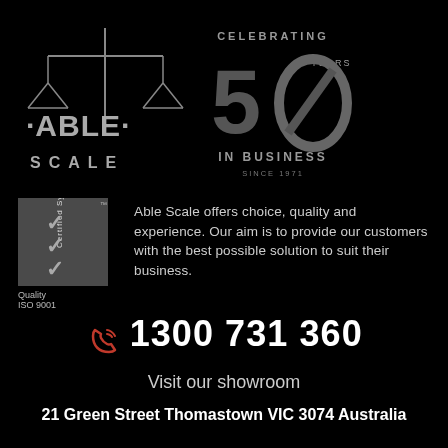[Figure (logo): Able Scale logo with balance scales above text ABLE SCALE, and 50 years celebrating in business since 1971 anniversary mark]
[Figure (logo): ISO 9001 Certified System quality badge with checkmarks]
Able Scale offers choice, quality and experience. Our aim is to provide our customers with the best possible solution to suit their business.
1300 731 360
Visit our showroom
21 Green Street Thomastown VIC 3074 Australia